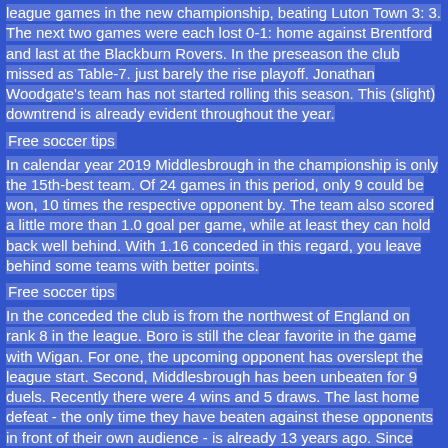league games in the new championship, beating Luton Town 3: 3. The next two games were each lost 0-1: home against Brentford and last at the Blackburn Rovers. In the preseason the club missed as Table-7. just barely the rise playoff. Jonathan Woodgate's team has not started rolling this season. This (slight) downtrend is already evident throughout the year.
Free soccer tips
In calendar year 2019 Middlesbrough in the championship is only the 15th-best team. Of 24 games in this period, only 9 could be won, 10 times the respective opponent by. The team also scored a little more than 1.0 goal per game, while at least they can hold back well behind. With 1.16 conceded in this regard, you leave behind some teams with better points.
Free soccer tips
In the conceded the club is from the northwest of England on rank 8 in the league. Boro is still the clear favorite in the game with Wigan. For one, the upcoming opponent has overslept the league start. Second, Middlesbrough has been unbeaten for 9 duels. Recently there were 4 wins and 5 draws. The last home defeat - the only time they have beaten against these opponents in front of their own audience - is already 13 years ago. Since then there have been 3 home wins against Wigan - 2 in a row - and a draw.